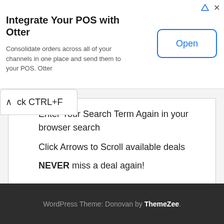[Figure (screenshot): Advertisement banner for Otter POS integration. Title: 'Integrate Your POS with Otter'. Subtitle: 'Consolidate orders across all of your channels in one place and send them to your POS. Otter'. Blue 'Open' button on the right.]
ck CTRL+F
Enter Your Search Term Again in your browser search
Click Arrows to Scroll available deals
NEVER miss a deal again!
WordPress Theme: Donovan by ThemeZee.